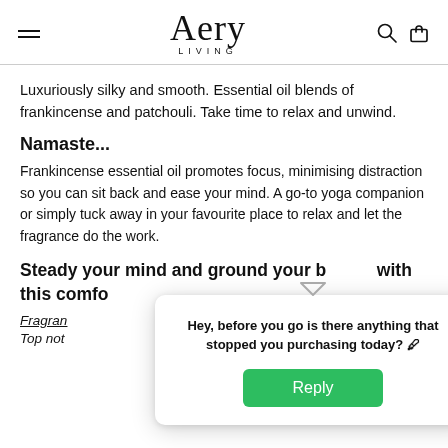Aery LIVING
Luxuriously silky and smooth. Essential oil blends of frankincense and patchouli. Take time to relax and unwind.
Namaste...
Frankincense essential oil promotes focus, minimising distraction so you can sit back and ease your mind. A go-to yoga companion or simply tuck away in your favourite place to relax and let the fragrance do the work.
Steady your mind and ground your body with this comfo
Fragrance
Top not
Hey, before you go is there anything that stopped you purchasing today? Reply